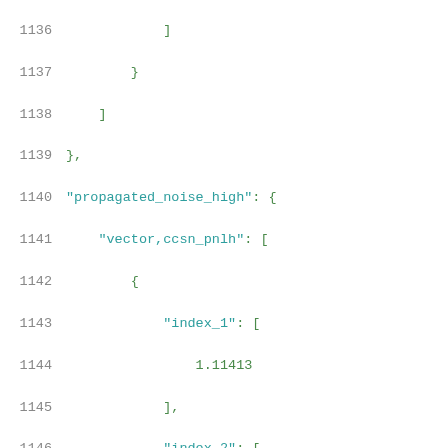Code listing lines 1136-1157 showing JSON structure with propagated_noise_high block containing vector,ccsn_pnlh array with index_1 through index_4 entries